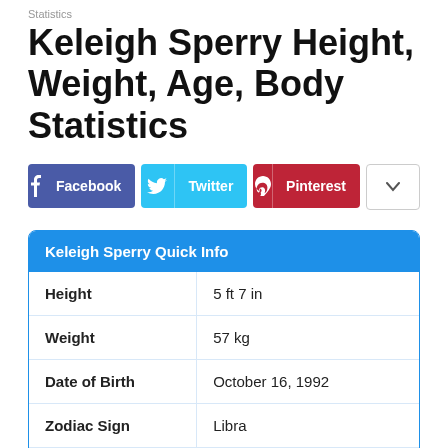Statistics
Keleigh Sperry Height, Weight, Age, Body Statistics
[Figure (infographic): Social share buttons: Facebook (blue), Twitter (cyan), Pinterest (red), and a dropdown arrow button]
|  |  |
| --- | --- |
| Height | 5 ft 7 in |
| Weight | 57 kg |
| Date of Birth | October 16, 1992 |
| Zodiac Sign | Libra |
| Spouse | Miles Teller |